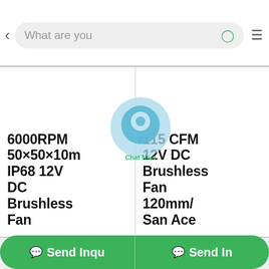[Figure (screenshot): Mobile app top navigation bar with back arrow, search box showing 'What are you', search icon, and hamburger menu icon]
6000RPM 50×50×10m IP68 12V DC Brushless Fan
115 CFM 12V DC Brushless Fan 120mm/ San Ace
[Figure (logo): Chat Now overlay bubble icon in light blue]
Send Inqu
Send In